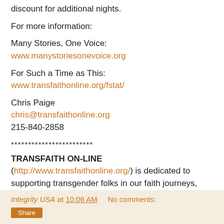discount for additional nights.
For more information:
Many Stories, One Voice: www.manystoriesonevoice.org
For Such a Time as This: www.transfaithonline.org/fstat/
Chris Paige
chris@transfaithonline.org
215-840-2858
************************
TRANSFAITH ON-LINE (http://www.transfaithonline.org/) is dedicated to supporting transgender folks in our faith journeys, while providing useful resources to help people of faith become better educated trans-allies.
Integrity USA at 10:06 AM   No comments: